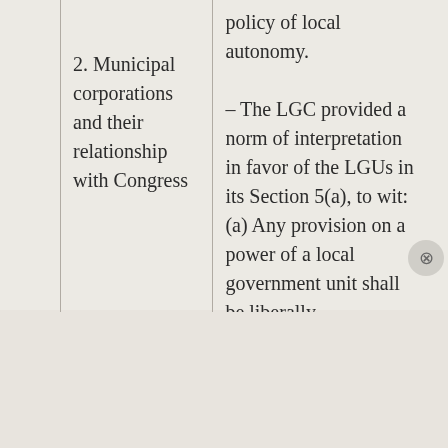| 2. Municipal corporations and their relationship with Congress | policy of local autonomy.
– The LGC provided a norm of interpretation in favor of the LGUs in its Section 5(a), to wit:  (a) Any provision on a power of a local government unit shall be liberally |
Advertisements
[Figure (illustration): DuckDuckGo advertisement banner with orange background. Text reads: Search, browse, and email with more privacy. All in One Free App. Shows a phone graphic with DuckDuckGo logo.]